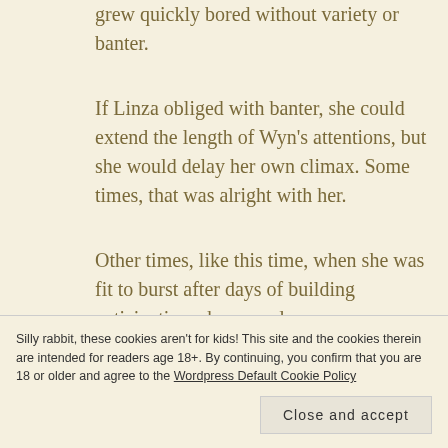grew quickly bored without variety or banter.
If Linza obliged with banter, she could extend the length of Wyn’s attentions, but she would delay her own climax. Some times, that was alright with her.
Other times, like this time, when she was fit to burst after days of building anticipation, she craved
Silly rabbit, these cookies aren’t for kids! This site and the cookies therein are intended for readers age 18+. By continuing, you confirm that you are 18 or older and agree to the Wordpress Default Cookie Policy
Close and accept
bit, but it was worth it. She propped